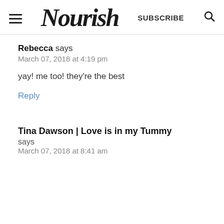Nourish — SUBSCRIBE
Rebecca says
March 07, 2018 at 4:19 pm
yay! me too! they're the best
Reply
Tina Dawson | Love is in my Tummy says
March 07, 2018 at 8:41 am